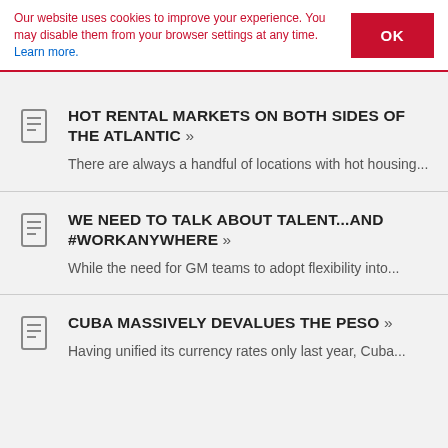Our website uses cookies to improve your experience. You may disable them from your browser settings at any time. Learn more.
HOT RENTAL MARKETS ON BOTH SIDES OF THE ATLANTIC »
There are always a handful of locations with hot housing...
WE NEED TO TALK ABOUT TALENT...AND #WORKANYWHERE »
While the need for GM teams to adopt flexibility into...
CUBA MASSIVELY DEVALUES THE PESO »
Having unified its currency rates only last year, Cuba...